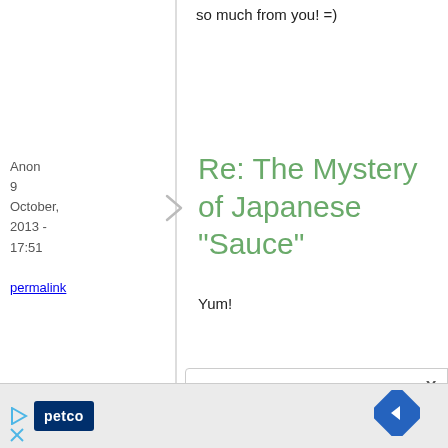so much from you! =)
Anon
9 October, 2013 - 17:51
permalink
Re: The Mystery of Japanese "Sauce"
Yum!
http://www.finefoodspecialist.co.u
[Figure (other): Advertisement banner with Petco logo, play button, close button, and navigation arrow icon]